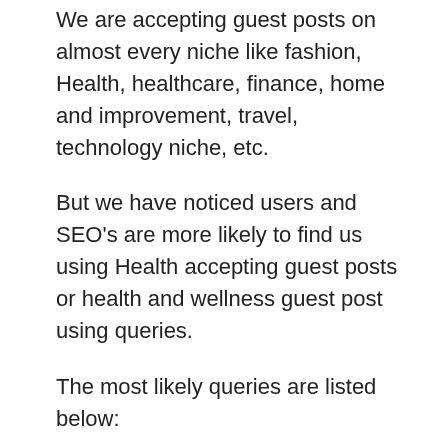We are accepting guest posts on almost every niche like fashion, Health, healthcare, finance, home and improvement, travel, technology niche, etc.
But we have noticed users and SEO's are more likely to find us using Health accepting guest posts or health and wellness guest post using queries.
The most likely queries are listed below:
Health accepting guest posts
“submit guest post” + “health”
health blogs + write for us
health and wellness guest post
Pet Health + "write for us"
write for us health